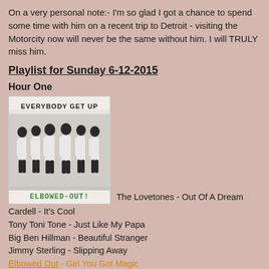On a very personal note:- I'm so glad I got a chance to spend some time with him on a recent trip to Detroit - visiting the Motorcity now will never be the same without him. I will TRULY miss him.
Playlist for Sunday 6-12-2015
Hour One
[Figure (photo): Album cover for 'Everybody Get Up' by Elbowed-Out! showing six men in white suits against a light background]
The Lovetones - Out Of A Dream
Cardell - It's Cool
Tony Toni Tone - Just Like My Papa
Big Ben Hillman - Beautiful Stranger
Jimmy Sterling - Slipping Away
Elbowed Out - Girl You Got Magic